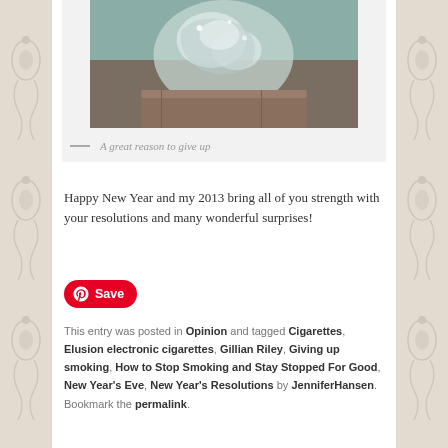[Figure (photo): Close-up photo of a glass crystal object on a wooden surface with teal background]
— A great reason to give up
Happy New Year and my 2013 bring all of you strength with your resolutions and many wonderful surprises!
[Figure (other): Pinterest Save button]
This entry was posted in Opinion and tagged Cigarettes, Elusion electronic cigarettes, Gillian Riley, Giving up smoking, How to Stop Smoking and Stay Stopped For Good, New Year's Eve, New Year's Resolutions by JenniferHansen. Bookmark the permalink.